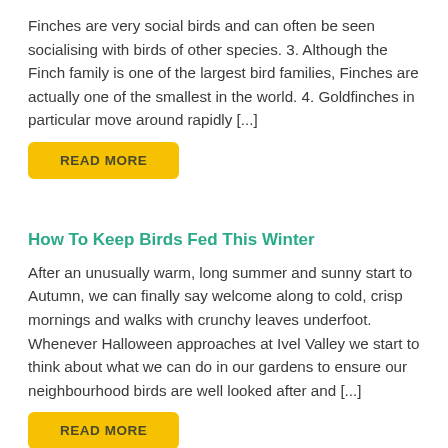Finches are very social birds and can often be seen socialising with birds of other species. 3. Although the Finch family is one of the largest bird families, Finches are actually one of the smallest in the world. 4. Goldfinches in particular move around rapidly [...]
READ MORE
How To Keep Birds Fed This Winter
After an unusually warm, long summer and sunny start to Autumn, we can finally say welcome along to cold, crisp mornings and walks with crunchy leaves underfoot. Whenever Halloween approaches at Ivel Valley we start to think about what we can do in our gardens to ensure our neighbourhood birds are well looked after and [...]
READ MORE